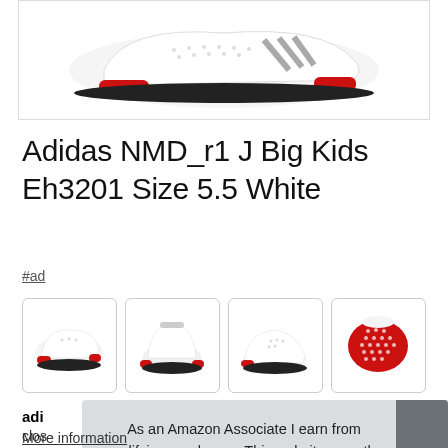[Figure (photo): Adidas NMD_r1 J sneaker shown from side angle, white with red accents and black sole, partially cropped at top]
Adidas NMD_r1 J Big Kids Eh3201 Size 5.5 White
#ad
[Figure (photo): Four thumbnail images of the Adidas NMD_r1 J sneaker from different angles: front-side view, back view, side view, and sole view showing red dotted pattern]
adi
clos
As an Amazon Associate I earn from qualifying purchases. This website uses the only necessary cookies to ensure you get the best experience on our website. More information
More information